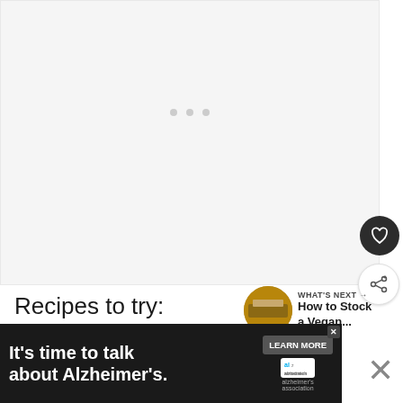[Figure (photo): Large image placeholder area with light gray background and three loading dots in the center]
Recipes to try:
[Figure (other): What's Next panel with thumbnail of vegan pantry, arrow icon, label 'WHAT'S NEXT →', and title 'How to Stock a Vegan...']
Best Tortilla S...
[Figure (other): Advertisement banner: It's time to talk about Alzheimer's. LEARN MORE. Alzheimer's Association logo. Close button.]